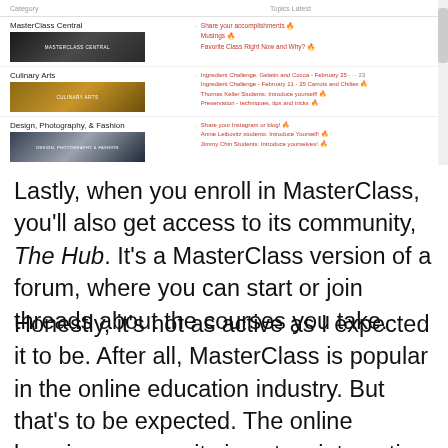[Figure (screenshot): Screenshot of MasterClass Hub community categories including MasterClass Central, Culinary Arts, and Design, Photography & Fashion with their thumbnail images and topic listings]
Lastly, when you enroll in MasterClass, you'll also get access to its community, The Hub. It's a MasterClass version of a forum, where you can start or join threads about the courses you take.
Honestly, it's not as active as I expected it to be. After all, MasterClass is popular in the online education industry. But that's to be expected. The online learning community is not as interactive as it is.